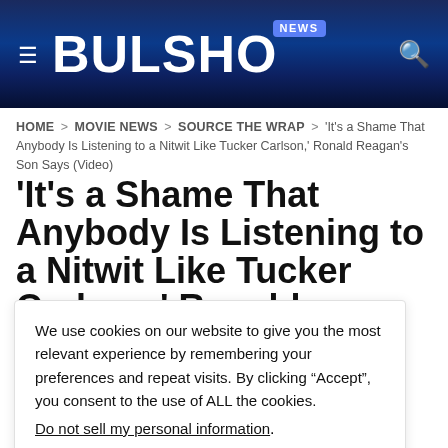BULSHO NEWS
HOME > MOVIE NEWS > SOURCE THE WRAP > 'It's a Shame That Anybody Is Listening to a Nitwit Like Tucker Carlson,' Ronald Reagan's Son Says (Video)
'It's a Shame That Anybody Is Listening to a Nitwit Like Tucker Carlson,' Ronald
We use cookies on our website to give you the most relevant experience by remembering your preferences and repeat visits. By clicking “Accept”, you consent to the use of ALL the cookies.
Do not sell my personal information.
Cookie Settings  Accept